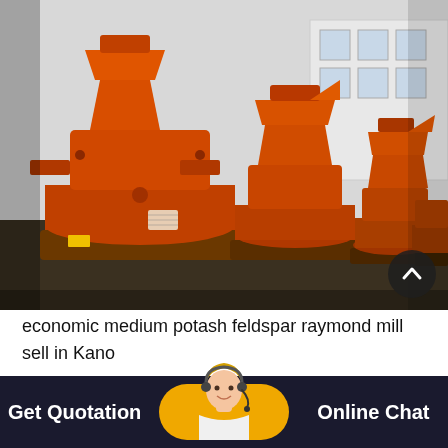[Figure (photo): Rows of large orange industrial Raymond mill grinding machines lined up in an outdoor factory yard with a white building in the background.]
economic medium potash feldspar raymond mill sell in Kano
[Figure (photo): Female customer service agent with headset smiling, displayed inside a yellow oval button in the footer bar.]
Get Quotation
Online Chat